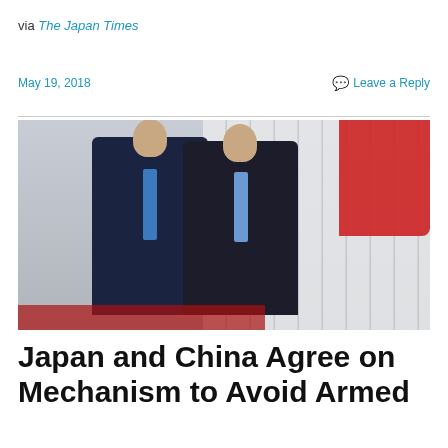via The Japan Times
May 19, 2018
Leave a Reply
[Figure (photo): Two men in dark suits walking in front of a line of military guards in white uniforms. A red canopy is visible on the right. Likely Japanese Prime Minister Shinzo Abe and Chinese Premier Li Keqiang at a formal ceremony.]
Japan and China Agree on Mechanism to Avoid Armed